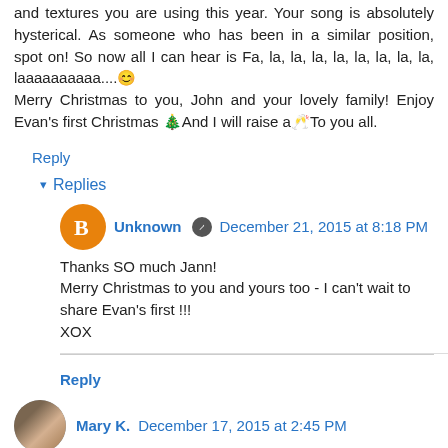and textures you are using this year. Your song is absolutely hysterical. As someone who has been in a similar position, spot on! So now all I can hear is Fa, la, la, la, la, la, la, la, la, laaaaaaaaaa....😊
Merry Christmas to you, John and your lovely family! Enjoy Evan's first Christmas 🎄And I will raise a🥂To you all.
Reply
▾ Replies
Unknown  December 21, 2015 at 8:18 PM
Thanks SO much Jann!
Merry Christmas to you and yours too - I can't wait to share Evan's first !!!
XOX
Reply
Mary K.  December 17, 2015 at 2:45 PM
Merry Christmas Suzan!! If I was closer I'd come over for